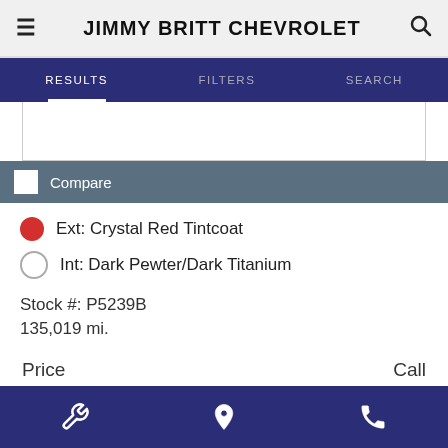JIMMY BRITT CHEVROLET
RESULTS   FILTERS   SEARCH
Compare
Ext: Crystal Red Tintcoat
Int: Dark Pewter/Dark Titanium
Stock #: P5239B
135,019 mi.
Price   Call
$ CHECK TODAY'S LOW PRICE
[wrench icon] [location icon] [phone icon]